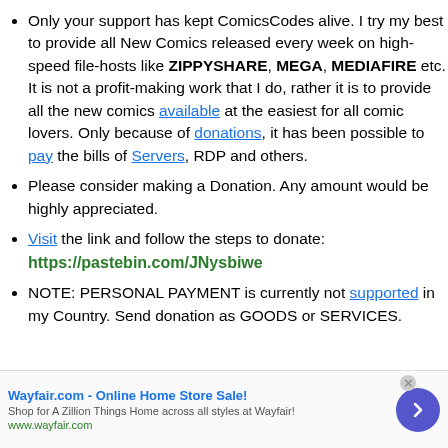Only your support has kept ComicsCodes alive. I try my best to provide all New Comics released every week on high-speed file-hosts like ZIPPYSHARE, MEGA, MEDIAFIRE etc. It is not a profit-making work that I do, rather it is to provide all the new comics available at the easiest for all comic lovers. Only because of donations, it has been possible to pay the bills of Servers, RDP and others.
Please consider making a Donation. Any amount would be highly appreciated.
Visit the link and follow the steps to donate: https://pastebin.com/JNysbiwe
NOTE: PERSONAL PAYMENT is currently not supported in my Country. Send donation as GOODS or SERVICES.
[Figure (infographic): Advertisement banner for Wayfair.com - Online Home Store Sale! with blue arrow button]